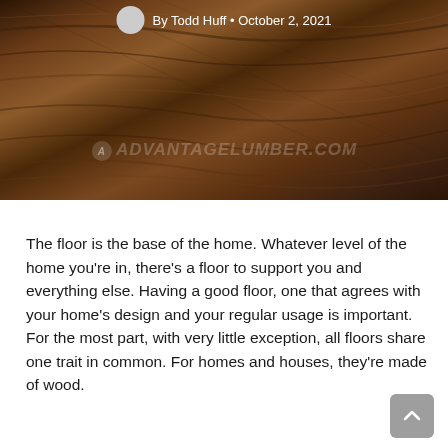[Figure (photo): Close-up photo of dark walnut wood flooring planks with a watermark reading ADVANTAGELUMBER.COM]
By Todd Huff • October 2, 2021
The floor is the base of the home. Whatever level of the home you're in, there's a floor to support you and everything else. Having a good floor, one that agrees with your home's design and your regular usage is important. For the most part, with very little exception, all floors share one trait in common. For homes and houses, they're made of wood.